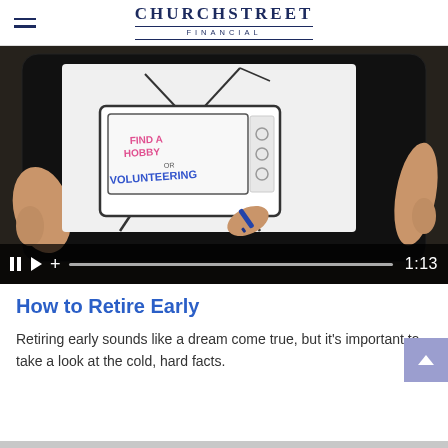ChurchStreet Financial
[Figure (screenshot): Video thumbnail showing hands holding a smartphone. The phone screen displays an animation of a vintage TV with 'FIND A HOBBY OR VOLUNTEERING' written on it. A hand with a marker is drawing on the screen. Video controls at the bottom show pause, play, plus icons, a progress bar, and a timestamp of 1:13.]
How to Retire Early
Retiring early sounds like a dream come true, but it's important to take a look at the cold, hard facts.